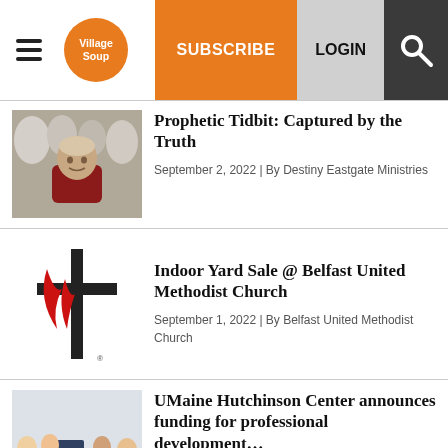Village Soup | SUBSCRIBE | LOGIN
[Figure (photo): Photo of man in red shirt with horses in background]
Prophetic Tidbit: Captured by the Truth
September 2, 2022 | By Destiny Eastgate Ministries
[Figure (logo): United Methodist Church cross and flame logo]
Indoor Yard Sale @ Belfast United Methodist Church
September 1, 2022 | By Belfast United Methodist Church
[Figure (photo): Group of students in a classroom setting]
UMaine Hutchinson Center announces funding for professional development…
September 1, 2022 | By University of Maine Hutchinson Center